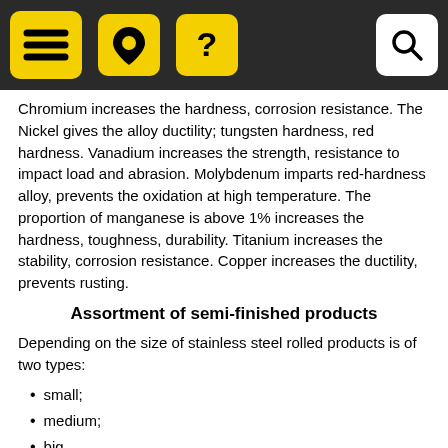[Navigation bar with hamburger menu, location pin icon, question mark icon, and search icon]
Chromium increases the hardness, corrosion resistance. The Nickel gives the alloy ductility; tungsten hardness, red hardness. Vanadium increases the strength, resistance to impact load and abrasion. Molybdenum imparts red-hardness alloy, prevents the oxidation at high temperature. The proportion of manganese is above 1% increases the hardness, toughness, durability. Titanium increases the stability, corrosion resistance. Copper increases the ductility, prevents rusting.
Assortment of semi-finished products
Depending on the size of stainless steel rolled products is of two types:
small;
medium;
big.
The most popular semi-finished products are: